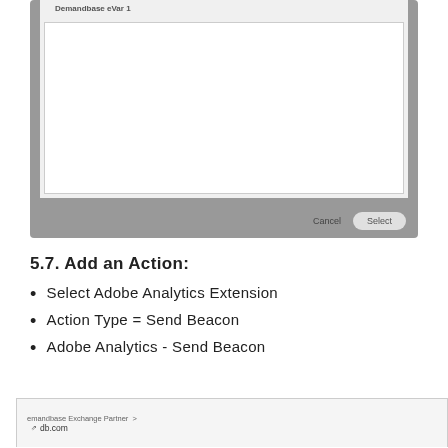[Figure (screenshot): Dialog box with a text area showing 'Demandbase eVar 1' at top, white content area below, and Cancel and Select buttons at bottom. Dialog has a gray border/background.]
5.7. Add an Action:
Select Adobe Analytics Extension
Action Type = Send Beacon
Adobe Analytics - Send Beacon
[Figure (screenshot): Browser bar showing 'emandbase Exchange Partner >' and 'db.com' with a back arrow button on the left.]